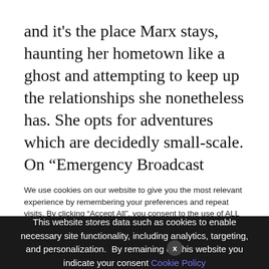and it's the place Marx stays, haunting her hometown like a ghost and attempting to keep up the relationships she nonetheless has. She opts for adventures which are decidedly small-scale. On “Emergency Broadcast System,” she finds escape in a quick joyride (hey) round city: “What if we go however we don’t go far? What in the event you get in my getaway automobile and I get
We use cookies on our website to give you the most relevant experience by remembering your preferences and repeat visits. By clicking “Accept All”, you consent to the use of ALL the controlled consent.
This website stores data such as cookies to enable necessary site functionality, including analytics, targeting, and personalization. By remaining on this website you indicate your consent Cookie Policy